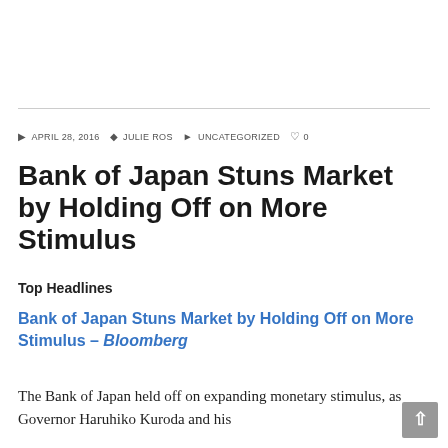© APRIL 28, 2016  & JULIE ROS  UNCATEGORIZED  ♡ 0
Bank of Japan Stuns Market by Holding Off on More Stimulus
Top Headlines
Bank of Japan Stuns Market by Holding Off on More Stimulus – Bloomberg
The Bank of Japan held off on expanding monetary stimulus, as Governor Haruhiko Kuroda and his